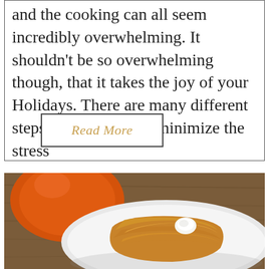and the cooking can all seem incredibly overwhelming. It shouldn't be so overwhelming though, that it takes the joy of your Holidays. There are many different steps you can take to minimize the stress …
Read More
[Figure (photo): Close-up photo of a baked pastry or pie slice on a white plate with a small white cream topping, next to an orange object (pumpkin or ceramic pot), on a wooden surface.]